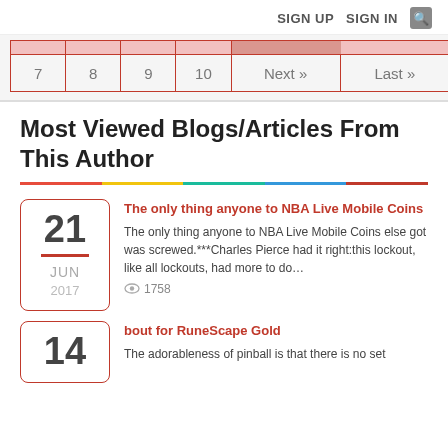SIGN UP   SIGN IN   🔍
Pagination: 7, 8, 9, 10, Next », Last »
Most Viewed Blogs/Articles From This Author
The only thing anyone to NBA Live Mobile Coins
The only thing anyone to NBA Live Mobile Coins else got was screwed.***Charles Pierce had it right:this lockout, like all lockouts, had more to do…
👁 1758
Date: 21 JUN 2017
bout for RuneScape Gold
The adorableness of pinball is that there is no set
Date: 14